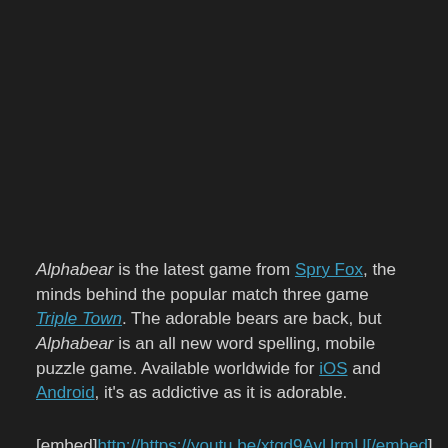Alphabear is the latest game from Spry Fox, the minds behind the popular match three game Triple Town. The adorable bears are back, but Alphabear is an all new word spelling, mobile puzzle game. Available worldwide for iOS and Android, it's as addictive as it is adorable.
[embed]http://https://youtu.be/xtqd9AvUrmU[/embed]